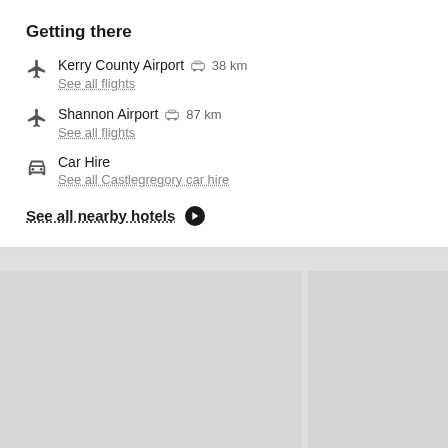Getting there
Kerry County Airport  38 km
See all flights
Shannon Airport  87 km
See all flights
Car Hire
See all Castlegregory car hire
See all nearby hotels
[Figure (photo): Two placeholder photo boxes side by side (gray rectangles), below a light gray divider section]
[Figure (photo): Partial view of two more photo boxes at bottom (gray rectangles)]